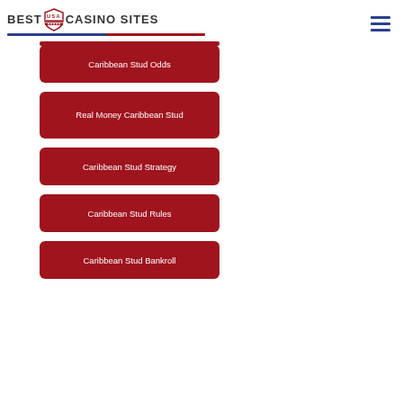BEST USA CASINO SITES
Caribbean Stud Odds
Real Money Caribbean Stud
Caribbean Stud Strategy
Caribbean Stud Rules
Caribbean Stud Bankroll